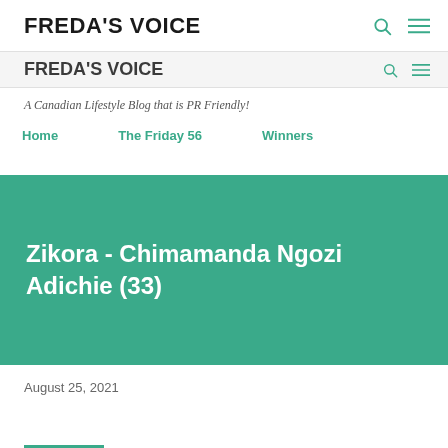FREDA'S VOICE
FREDA'S VOICE
A Canadian Lifestyle Blog that is PR Friendly!
Home
The Friday 56
Winners
Zikora - Chimamanda Ngozi Adichie (33)
August 25, 2021